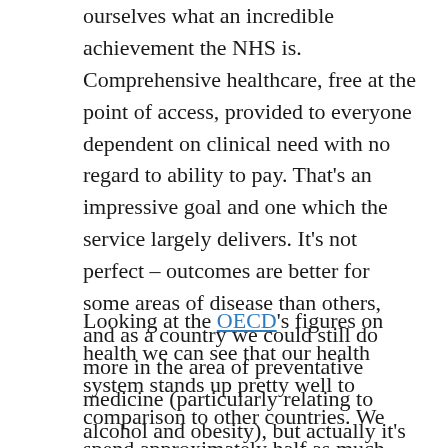ourselves what an incredible achievement the NHS is. Comprehensive healthcare, free at the point of access, provided to everyone dependent on clinical need with no regard to ability to pay. That's an impressive goal and one which the service largely delivers. It's not perfect – outcomes are better for some areas of disease than others, and as a country we could still do more in the area of preventative medicine (particularly relating to alcohol and obesity), but actually it's pretty damn good.
Looking at the OECD's figures on health we can see that our health system stands up pretty well to comparison to other countries. We spend approximately half as much per head of population on healthcare as America, and, on average, live for two years longer. Taking a couple of examples from within